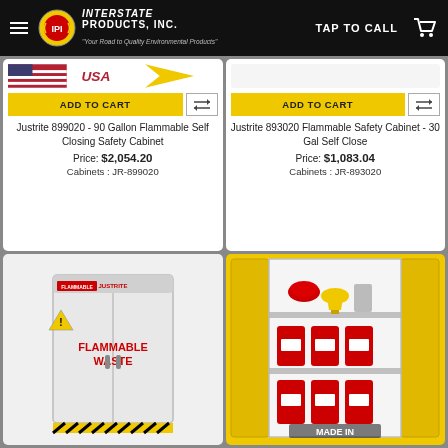Interstate Products, Inc. — TAP TO CALL
[Figure (screenshot): Partial USA graphic strip at top of first product card]
ADD TO CART
Justrite 899020 - 90 Gallon Flammable Self Closing Safety Cabinet
Price: $2,054.20
Cabinets : JR-899020
ADD TO CART
Justrite 893020 Flammable Safety Cabinet - 30 Gal Self Close
Price: $1,083.04
Cabinets : JR-893020
[Figure (photo): White flammable waste safety cabinet with FLAMMABLE WASTE label]
[Figure (photo): Yellow Justrite flammable safety cabinet open showing red gas cans on shelves, MADE IN label at bottom]